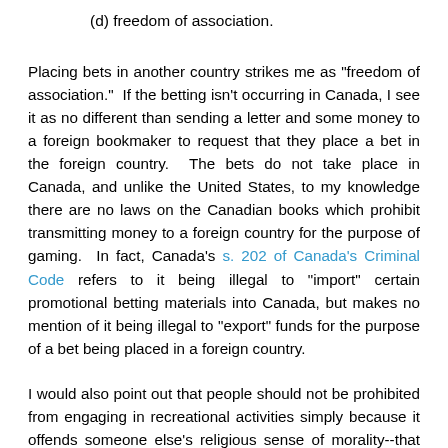(d) freedom of association.
Placing bets in another country strikes me as "freedom of association."  If the betting isn't occurring in Canada, I see it as no different than sending a letter and some money to a foreign bookmaker to request that they place a bet in the foreign country.  The bets do not take place in Canada, and unlike the United States, to my knowledge there are no laws on the Canadian books which prohibit transmitting money to a foreign country for the purpose of gaming.  In fact, Canada's s. 202 of Canada's Criminal Code refers to it being illegal to "import" certain promotional betting materials into Canada, but makes no mention of it being illegal to "export" funds for the purpose of a bet being placed in a foreign country.
I would also point out that people should not be prohibited from engaging in recreational activities simply because it offends someone else's religious sense of morality--that would certainly be a violation of the freedom of conscience and religion.  Of course, governments always attempt to